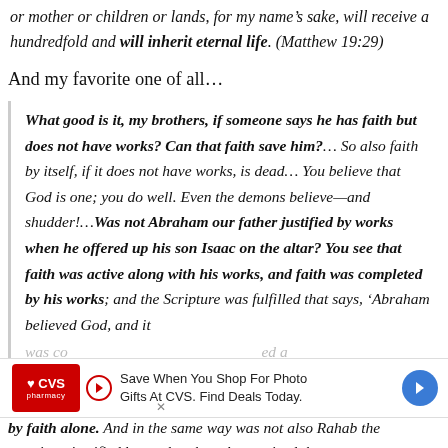or mother or children or lands, for my name’s sake, will receive a hundredfold and will inherit eternal life. (Matthew 19:29)
And my favorite one of all…
What good is it, my brothers, if someone says he has faith but does not have works? Can that faith save him?… So also faith by itself, if it does not have works, is dead… You believe that God is one; you do well. Even the demons believe—and shudder!…Was not Abraham our father justified by works when he offered up his son Isaac on the altar? You see that faith was active along with his works, and faith was completed by his works; and the Scripture was fulfilled that says, ‘Abraham believed God, and it was co[unted to him as righteousness]’—and he was called a friend [of God’s]—You see that a person is justified by works and not by faith alone. And in the same way was not also Rahab the prostitute justified by works when she received the messengers
[Figure (other): CVS Pharmacy advertisement banner: Save When You Shop For Photo Gifts At CVS. Find Deals Today.]